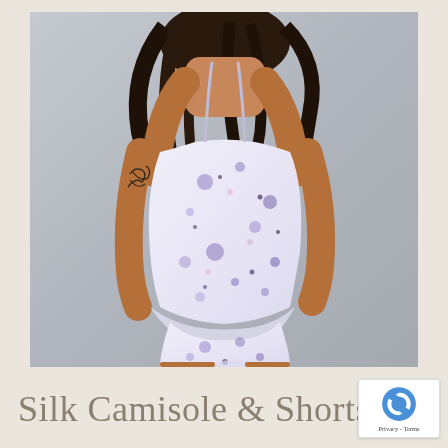[Figure (photo): A woman photographed from behind wearing a floral/splatter-print silk camisole and matching shorts in white, purple, pink and blue tones. She has long dark hair and a tattoo on her upper arm. Background is light grey.]
Silk Camisole & Shorts S